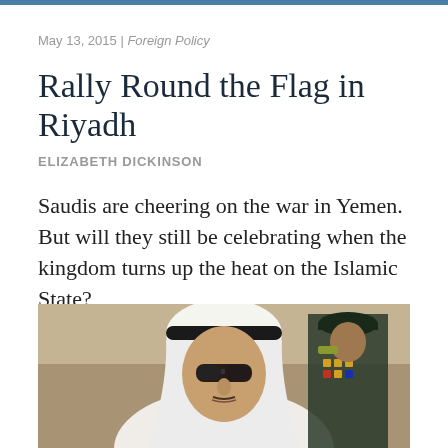May 13, 2015 | Foreign Policy
Rally Round the Flag in Riyadh
ELIZABETH DICKINSON
Saudis are cheering on the war in Yemen. But will they still be celebrating when the kingdom turns up the heat on the Islamic State?
[Figure (photo): A Saudi man wearing traditional white thobe and headdress with dark sunglasses, with a military officer in dark uniform with medals visible in the background.]